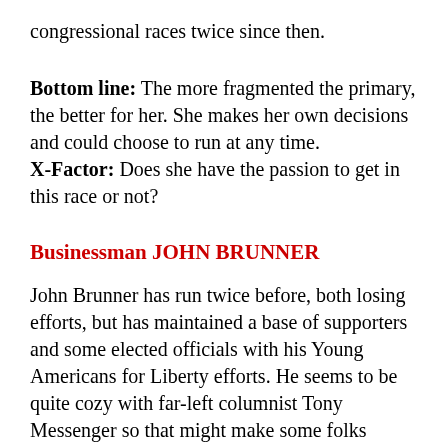congressional races twice since then.
Bottom line: The more fragmented the primary, the better for her. She makes her own decisions and could choose to run at any time.
X-Factor: Does she have the passion to get in this race or not?
Businessman JOHN BRUNNER
John Brunner has run twice before, both losing efforts, but has maintained a base of supporters and some elected officials with his Young Americans for Liberty efforts. He seems to be quite cozy with far-left columnist Tony Messenger so that might make some folks scratch their heads, but no one doubts that he doesn’t like Eric Greitens. He is the kind of guy who will text you how much he supports you one day and then be a willing accomplice with an ultra-lefty in a smear